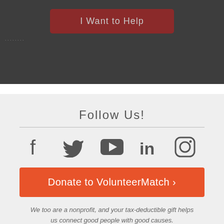[Figure (screenshot): Dark gray top section with a dark red 'I Want to Help' button and small faint subtext below]
Follow Us!
[Figure (infographic): Social media icons: Facebook, Twitter, YouTube, LinkedIn, Instagram]
Donate to VolunteerMatch >
We too are a nonprofit, and your tax-deductible gift helps us connect good people with good causes.